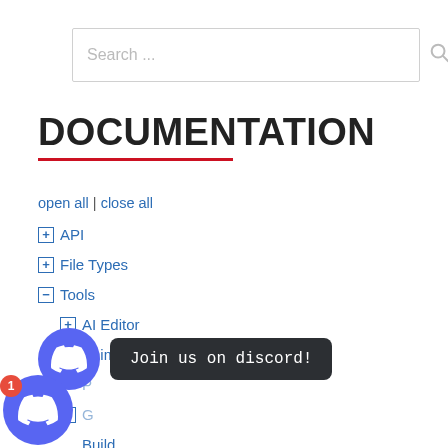Search ...
DOCUMENTATION
open all | close all
⊞ API
⊞ File Types
⊟ Tools
⊞ AI Editor
⊞ AnimationEditor
P...
G...
Build
Camera
⊞ Code
IElement
[Figure (other): Discord 'Join us on discord!' tooltip bubble with Discord logo button]
[Figure (other): Discord logo button with notification badge showing '1']